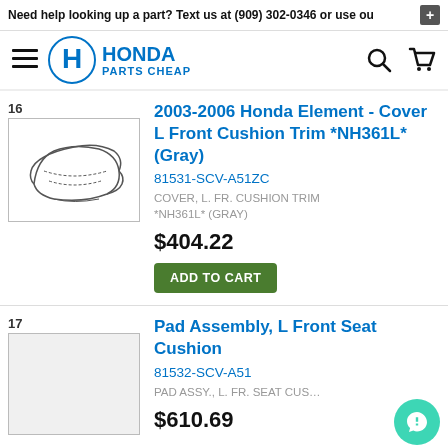Need help looking up a part? Text us at (909) 302-0346 or use ou
[Figure (logo): Honda Parts Cheap logo with Honda H emblem]
16
[Figure (photo): Line drawing of Honda Element L Front Cushion seat cover]
2003-2006 Honda Element - Cover L Front Cushion Trim *NH361L* (Gray)
81531-SCV-A51ZC
COVER, L. FR. CUSHION TRIM *NH361L* (GRAY)
$404.22
ADD TO CART
17
[Figure (photo): Blank placeholder image for Pad Assembly L Front Seat Cushion]
Pad Assembly, L Front Seat Cushion
81532-SCV-A51
PAD ASSY., L. FR. SEAT CUS…
$610.69